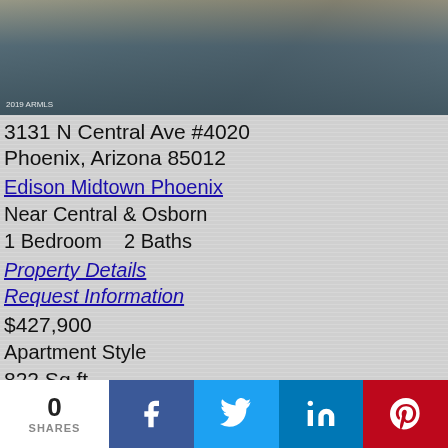[Figure (photo): Interior photo of apartment showing furniture and flooring with watermark text '2019 ARMLS']
3131 N Central Ave #4020
Phoenix, Arizona 85012
Edison Midtown Phoenix
Near Central & Osborn
1 Bedroom   2 Baths
Property Details
Request Information
$427,900
Apartment Style
822 Sq ft
0 SHARES | Facebook | Twitter | LinkedIn | Pinterest